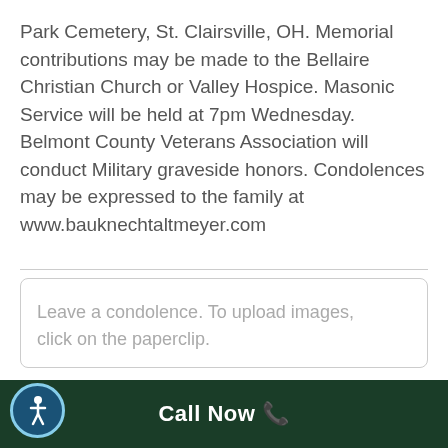Park Cemetery, St. Clairsville, OH. Memorial contributions may be made to the Bellaire Christian Church or Valley Hospice. Masonic Service will be held at 7pm Wednesday. Belmont County Veterans Association will conduct Military graveside honors. Condolences may be expressed to the family at www.bauknechtaltmeyer.com
Leave a condolence. To upload images, click on the paperclip.
Call Now